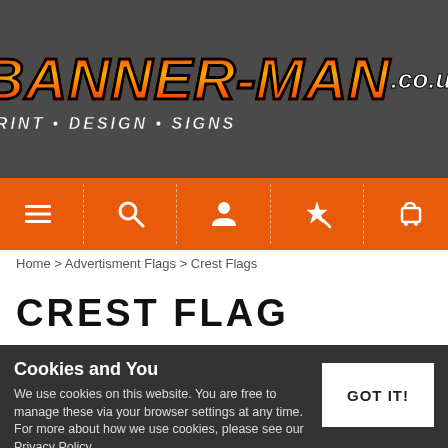[Figure (logo): Banner-Man.co.uk logo with orange/red gradient text on dark grey background, subtitle: PRINT • DESIGN • SIGNS]
[Figure (screenshot): Orange navigation bar with icons: hamburger menu, search, user/account, magic wand/wishlist, shopping cart, separated by dashed vertical lines]
Home > Advertisment Flags > Crest Flags
CREST FLAG
Cookies and You
We use cookies on this website. You are free to manage these via your browser settings at any time. For more about how we use cookies, please see our Privacy Policy.
GOT IT!